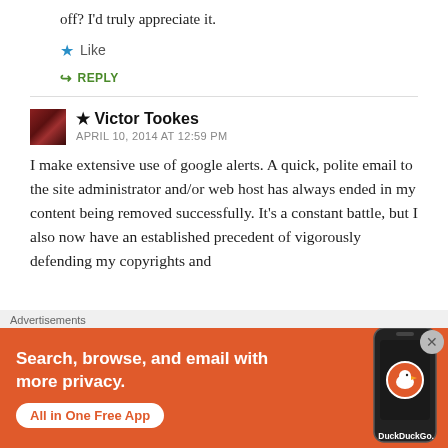off? I'd truly appreciate it.
Like
REPLY
Victor Tookes — APRIL 10, 2014 AT 12:59 PM
I make extensive use of google alerts. A quick, polite email to the site administrator and/or web host has always ended in my content being removed successfully. It's a constant battle, but I also now have an established precedent of vigorously defending my copyrights and
[Figure (screenshot): DuckDuckGo advertisement banner: 'Search, browse, and email with more privacy. All in One Free App' with phone graphic and DuckDuckGo logo]